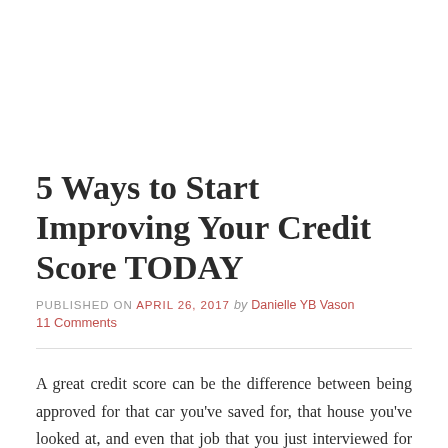5 Ways to Start Improving Your Credit Score TODAY
PUBLISHED ON April 26, 2017 by Danielle YB Vason
11 Comments
A great credit score can be the difference between being approved for that car you've saved for, that house you've looked at, and even that job that you just interviewed for that is now